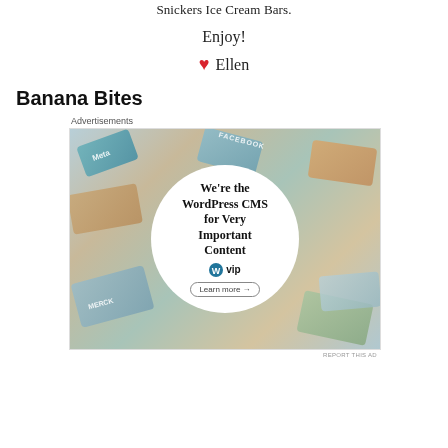Snickers Ice Cream Bars.
Enjoy!
❤ Ellen
Banana Bites
[Figure (photo): Advertisement banner for WordPress VIP CMS showing a circular white overlay with text 'We're the WordPress CMS for Very Important Content' and WP VIP logo, over a collage background of various brand cards including Meta, Facebook, Merck, and others.]